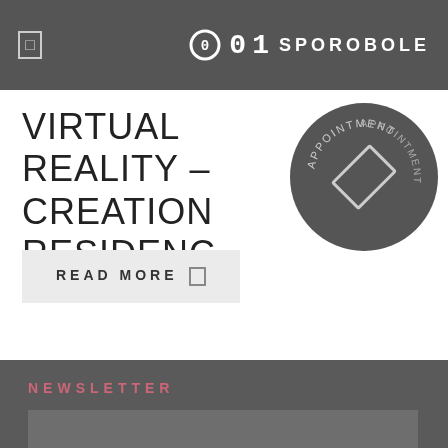0 01 SPOROBOLE
VIRTUAL REALITY – CREATION RESIDENCY
[Figure (illustration): Dark grey circle with rotated text reading 'BY APPOINTMENT' and a small rectangle icon inside]
READ MORE
NEWSLETTER
E-MAIL
FIRST